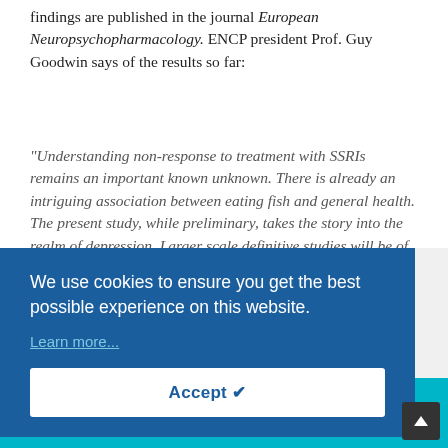findings are published in the journal European Neuropsychopharmacology. ENCP president Prof. Guy Goodwin says of the results so far:
"Understanding non-response to treatment with SSRIs remains an important known unknown. There is already an intriguing association between eating fish and general health. The present study, while preliminary, takes the story into the realm of depression. Larger scale definitive studies will be of considerable interest."
We use cookies to ensure you get the best possible experience on this website.
Learn more...
Accept ✔